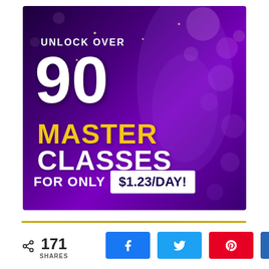[Figure (infographic): Promotional banner on dark purple background with bokeh lights and a woman looking upward holding a phone. Text reads: UNLOCK OVER 90 MASTER CLASSES FOR ONLY $1.23/DAY!]
171 SHARES
[Figure (infographic): Social share buttons row: Facebook (k icon), Twitter (bird icon), Pinterest (P icon), LinkedIn (in icon)]